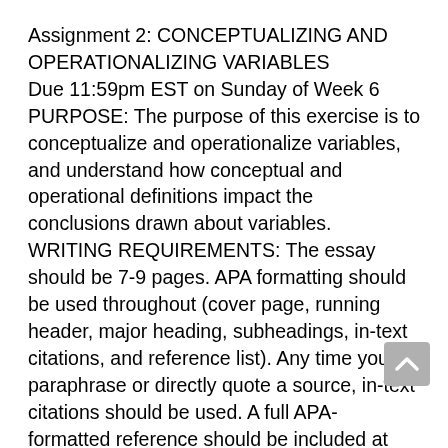Assignment 2: CONCEPTUALIZING AND OPERATIONALIZING VARIABLES
Due 11:59pm EST on Sunday of Week 6 PURPOSE: The purpose of this exercise is to conceptualize and operationalize variables, and understand how conceptual and operational definitions impact the conclusions drawn about variables. WRITING REQUIREMENTS: The essay should be 7-9 pages. APA formatting should be used throughout (cover page, running header, major heading, subheadings, in-text citations, and reference list). Any time you paraphrase or directly quote a source, in-text citations should be used. A full APA-formatted reference should be included at the end of the assignment.